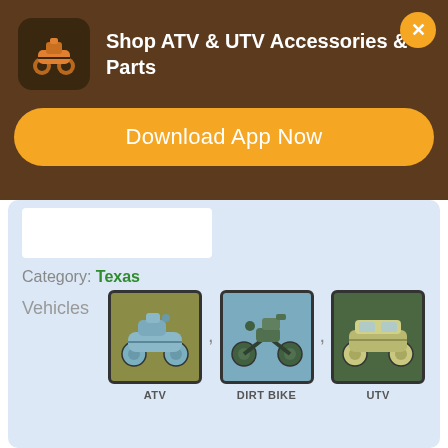[Figure (screenshot): App advertisement banner for ATV & UTV Accessories & Parts with dark brown background, app icon showing orange ATV on dark background, white title text, orange Download App Now button, and orange X close button]
Category: Texas
Vehicles
[Figure (illustration): Three vehicle icons in colored boxes: ATV on olive/tan background, Dirt Bike on teal/blue background, UTV on dark green background, labeled ATV, DIRT BIKE, UTV]
Sam Houston National Forest
394 FM 1375, New Waverly,